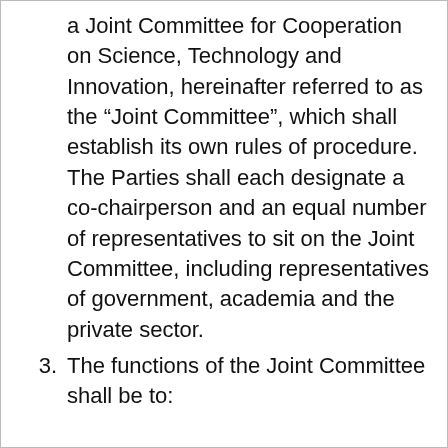a Joint Committee for Cooperation on Science, Technology and Innovation, hereinafter referred to as the “Joint Committee”, which shall establish its own rules of procedure. The Parties shall each designate a co-chairperson and an equal number of representatives to sit on the Joint Committee, including representatives of government, academia and the private sector.
3. The functions of the Joint Committee shall be to: